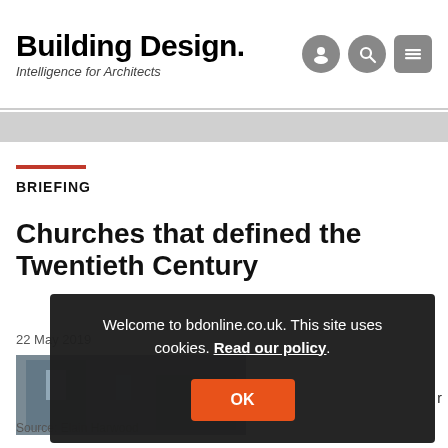Building Design. Intelligence for Architects
BRIEFING
Churches that defined the Twentieth Century
22 May 2019
[Figure (photo): Photograph of a church interior, partially visible]
Source: Elain Harwood
Welcome to bdonline.co.uk. This site uses cookies. Read our policy.
OK